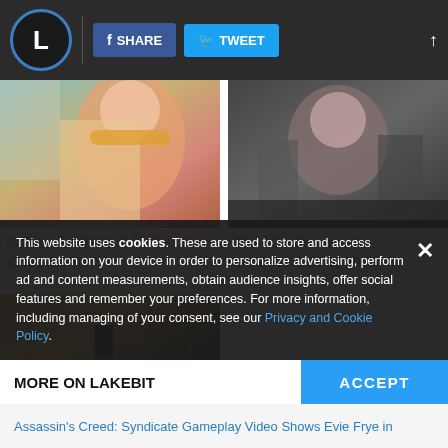L | SHARE | TWEET
[Figure (photo): Screenshot from Final Fantasy XV showing a female character in a yellow jacket with goggles]
Is Final Fantasy XV a Sexist Video Game?
[Figure (photo): Screenshot from a dark video game showing soldiers with a female protagonist]
Top 10 video game controversies of 2017
[Figure (photo): City scene at sunset with a bridge and figure near a monolith]
This website uses cookies. These are used to store and access information on your device in order to personalize advertising, perform ad and content measurements, obtain audience insights, offer social features and remember your preferences. For more information, including managing of your consent, see our Privacy and Cookie Policy.
MORE ON LAKEBIT
ACCEPT
Assassin's Creed: Syndicate Gameplay Video Shows Evie Frye in